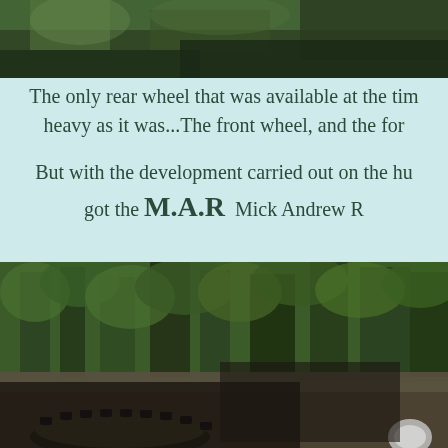[Figure (photo): Partial view of a motorcycle or bicycle wheel/tire on rocky/forest ground, top portion of image]
The only rear wheel that was available at the tim heavy as it was...The front wheel, and the for
But with the development carried out on the hu got the M.A.R Mick Andrew R
[Figure (photo): Motorcycle riding through a forested mountain trail with green trees and rocky terrain, rider visible at bottom with knobby tire prominent]